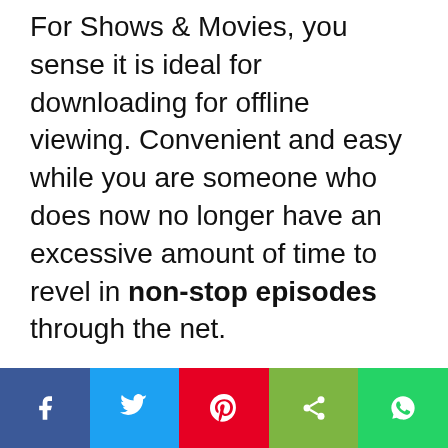For Shows & Movies, you sense it is ideal for downloading for offline viewing. Convenient and easy while you are someone who does now no longer have an excessive amount of time to revel in non-stop episodes through the net.
[Figure (other): Social sharing bar with five buttons: Facebook (dark blue), Twitter (light blue), Pinterest (red), Share (light green), WhatsApp (green)]